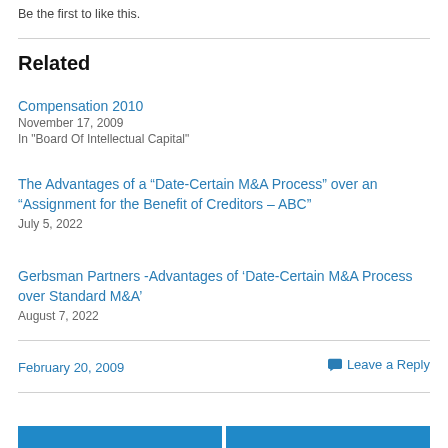Be the first to like this.
Related
Compensation 2010
November 17, 2009
In "Board Of Intellectual Capital"
The Advantages of a “Date-Certain M&A Process” over an “Assignment for the Benefit of Creditors – ABC”
July 5, 2022
Gerbsman Partners -Advantages of ‘Date-Certain M&A Process over Standard M&A’
August 7, 2022
February 20, 2009
Leave a Reply